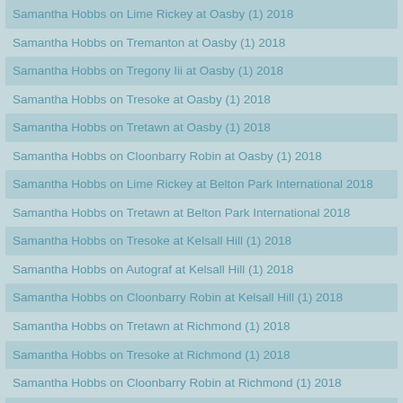Samantha Hobbs on Lime Rickey at Oasby (1) 2018
Samantha Hobbs on Tremanton at Oasby (1) 2018
Samantha Hobbs on Tregony Iii at Oasby (1) 2018
Samantha Hobbs on Tresoke at Oasby (1) 2018
Samantha Hobbs on Tretawn at Oasby (1) 2018
Samantha Hobbs on Cloonbarry Robin at Oasby (1) 2018
Samantha Hobbs on Lime Rickey at Belton Park International 2018
Samantha Hobbs on Tretawn at Belton Park International 2018
Samantha Hobbs on Tresoke at Kelsall Hill (1) 2018
Samantha Hobbs on Autograf at Kelsall Hill (1) 2018
Samantha Hobbs on Cloonbarry Robin at Kelsall Hill (1) 2018
Samantha Hobbs on Tretawn at Richmond (1) 2018
Samantha Hobbs on Tresoke at Richmond (1) 2018
Samantha Hobbs on Cloonbarry Robin at Richmond (1) 2018
Samantha Hobbs on Tregony Iii at Richmond (1) 2018
Samantha Hobbs on Tremanton at Richmond (1) 2018
Samantha Hobbs on Lime Rickey at Chatsworth International 2018
Samantha Hobbs on Tregony Iii at Rockingham International 2018